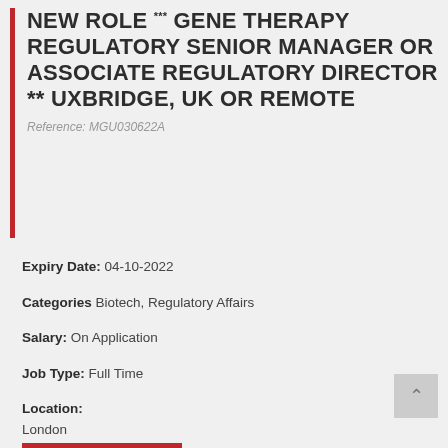NEW ROLE *** GENE THERAPY REGULATORY SENIOR MANAGER OR ASSOCIATE REGULATORY DIRECTOR ** UXBRIDGE, UK OR REMOTE
Reference: MGU030622A
Expiry Date: 04-10-2022
Categories Biotech, Regulatory Affairs
Salary: On Application
Job Type: Full Time
Location: London Greater London United Kingdom